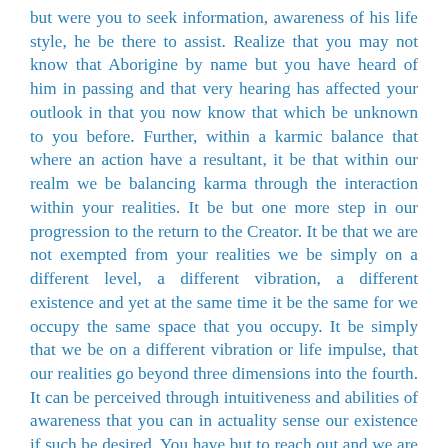but were you to seek information, awareness of his life style, he be there to assist. Realize that you may not know that Aborigine by name but you have heard of him in passing and that very hearing has affected your outlook in that you now know that which be unknown to you before. Further, within a karmic balance that where an action have a resultant, it be that within our realm we be balancing karma through the interaction within your realities. It be but one more step in our progression to the return to the Creator. It be that we are not exempted from your realities we be simply on a different level, a different vibration, a different existence and yet at the same time it be the same for we occupy the same space that you occupy. It be simply that we be on a different vibration or life impulse, that our realities go beyond three dimensions into the fourth. It can be perceived through intuitiveness and abilities of awareness that you can in actuality sense our existence if such be desired. You have but to reach out and we are there...